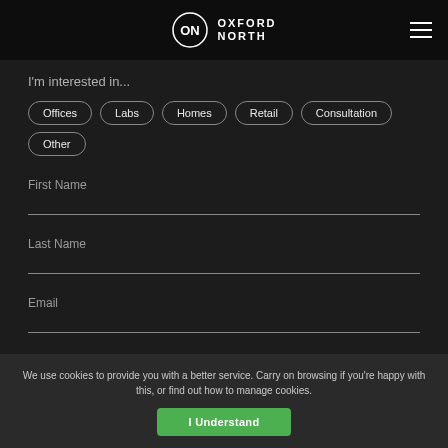Oxford North
I'm interested in...
Offices
Labs
Homes
Retail
Consultation
Other
First Name
Last Name
Email
We use cookies to provide you with a better service. Carry on browsing if you're happy with this, or find out how to manage cookies.
I Understand